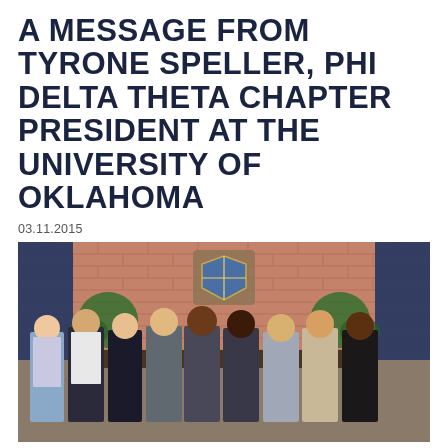A MESSAGE FROM TYRONE SPELLER, PHI DELTA THETA CHAPTER PRESIDENT AT THE UNIVERSITY OF OKLAHOMA
03.11.2015
[Figure (photo): Group photo of approximately nine young men standing in a row inside what appears to be a fraternity house with brick walls and a Phi Delta Theta crest/shield on the wall behind them. The men are dressed in business casual and formal attire.]